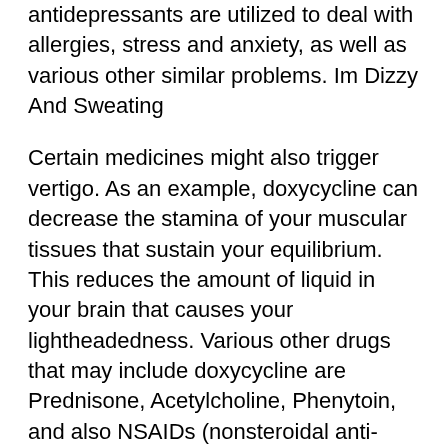antidepressants are utilized to deal with allergies, stress and anxiety, as well as various other similar problems. Im Dizzy And Sweating
Certain medicines might also trigger vertigo. As an example, doxycycline can decrease the stamina of your muscular tissues that sustain your equilibrium. This reduces the amount of liquid in your brain that causes your lightheadedness. Various other drugs that may include doxycycline are Prednisone, Acetylcholine, Phenytoin, and also NSAIDs (nonsteroidal anti-inflammatory medicines).
Vertigo that does not boost with non-prescription treatment can be dealt with by a specialist. There are other opinions consist of